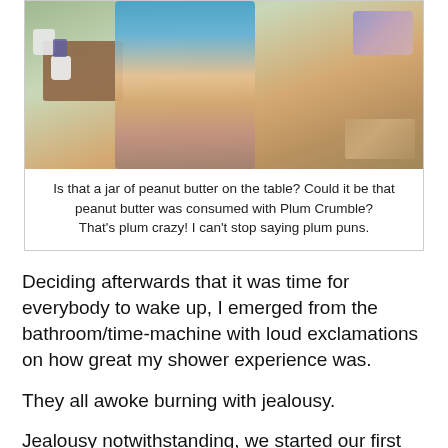[Figure (photo): Photo of a woman sitting at an outdoor table with food, mugs, and a jar that appears to be peanut butter, with cushions and a rug visible in the background.]
Is that a jar of peanut butter on the table? Could it be that peanut butter was consumed with Plum Crumble?
That's plum crazy! I can't stop saying plum puns.
Deciding afterwards that it was time for everybody to wake up, I emerged from the bathroom/time-machine with loud exclamations on how great my shower experience was.
They all awoke burning with jealousy.
Jealousy notwithstanding, we started our first morning off right with Pflaumenkuchen, aka German Plum Crumble (and yes, it was plum crumbly).
Since there was fruit in it, I'm preeeetty sure it counts as a